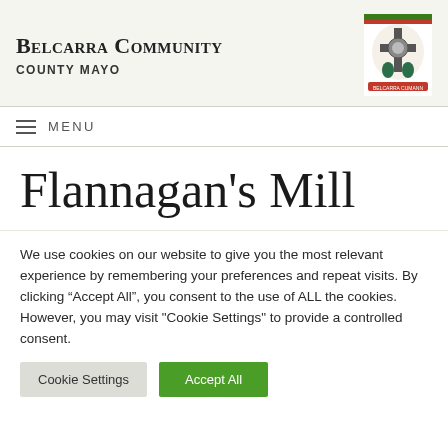Belcarra Community
County Mayo
[Figure (logo): Belcarra Community logo with Celtic cross and shields]
Menu
Flannagan's Mill
We use cookies on our website to give you the most relevant experience by remembering your preferences and repeat visits. By clicking "Accept All", you consent to the use of ALL the cookies. However, you may visit "Cookie Settings" to provide a controlled consent.
Cookie Settings | Accept All